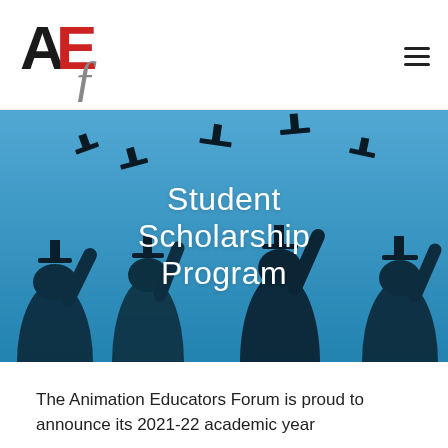[Figure (logo): Animation Educators Forum logo: stylized letters AEf in black and red with a decorative flourish]
[Figure (photo): Blue-tinted photo of graduating students in caps and gowns throwing mortarboard hats in the air, with text overlay 'Student Scholarship Program']
Student Scholarship Program
The Animation Educators Forum is proud to announce its 2021-22 academic year